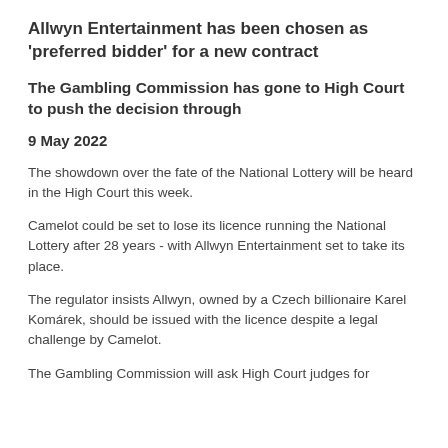Allwyn Entertainment has been chosen as 'preferred bidder' for a new contract
The Gambling Commission has gone to High Court to push the decision through
9 May 2022
The showdown over the fate of the National Lottery will be heard in the High Court this week.
Camelot could be set to lose its licence running the National Lottery after 28 years - with Allwyn Entertainment set to take its place.
The regulator insists Allwyn, owned by a Czech billionaire Karel Komárek, should be issued with the licence despite a legal challenge by Camelot.
The Gambling Commission will ask High Court judges for